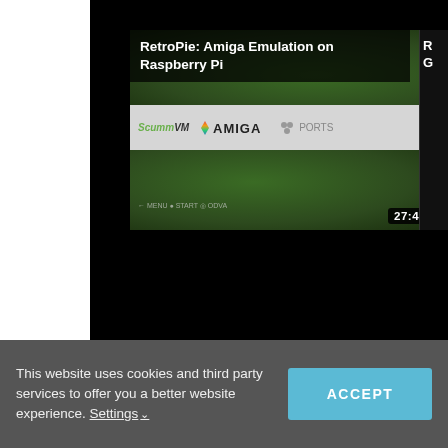[Figure (screenshot): Video thumbnail for 'RetroPie: Amiga Emulation on Raspberry Pi' showing a 27:42 duration video. The thumbnail displays logos for ScummVM, Amiga, and Ports on a gray bar over a green/nature background. Title overlaid at top left.]
This website uses cookies and third party services to offer you a better website experience. Settings